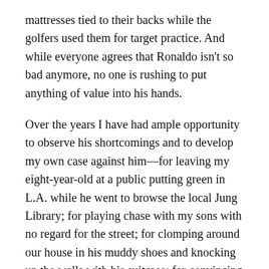mattresses tied to their backs while the golfers used them for target practice. And while everyone agrees that Ronaldo isn't so bad anymore, no one is rushing to put anything of value into his hands.
Over the years I have had ample opportunity to observe his shortcomings and to develop my own case against him—for leaving my eight-year-old at a public putting green in L.A. while he went to browse the local Jung Library; for playing chase with my sons with no regard for the street; for clomping around our house in his muddy shoes and knocking up the walls with his suitcase; for convincing me to invest in a biotech company that promptly went bankrupt. Yet no matter how compelling the evidence seems, no matter how furious I get, something about all the criticisms and judgments feels misguided. Even at